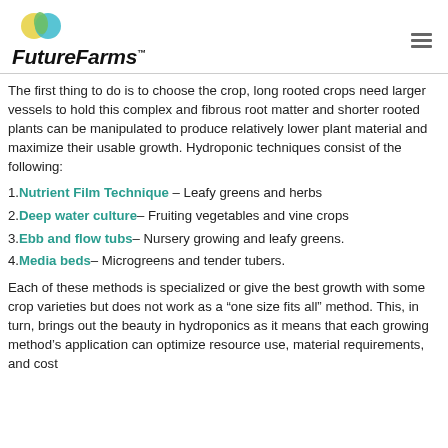FutureFarms
The first thing to do is to choose the crop, long rooted crops need larger vessels to hold this complex and fibrous root matter and shorter rooted plants can be manipulated to produce relatively lower plant material and maximize their usable growth. Hydroponic techniques consist of the following:
1. Nutrient Film Technique – Leafy greens and herbs
2. Deep water culture – Fruiting vegetables and vine crops
3. Ebb and flow tubs – Nursery growing and leafy greens.
4. Media beds – Microgreens and tender tubers.
Each of these methods is specialized or give the best growth with some crop varieties but does not work as a “one size fits all” method. This, in turn, brings out the beauty in hydroponics as it means that each growing method’s application can optimize resource use, material requirements, and cost